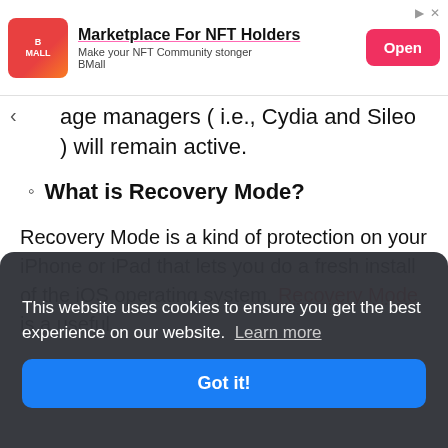[Figure (other): Advertisement banner: BMall logo (red/orange gradient square), headline 'Marketplace For NFT Holders', subtext 'Make your NFT Community stonger BMall', and an 'Open' button in pink/red.]
age managers ( i.e., Cydia and Sileo ) will remain active.
What is Recovery Mode?
Recovery Mode is a kind of protection on your iPhone or iPad that lets you do a fresh install of the iOS operating system. Recovery Mode is a useful [partially obscured text] rating will [partially obscured] a
This website uses cookies to ensure you get the best experience on our website.  Learn more
Got it!